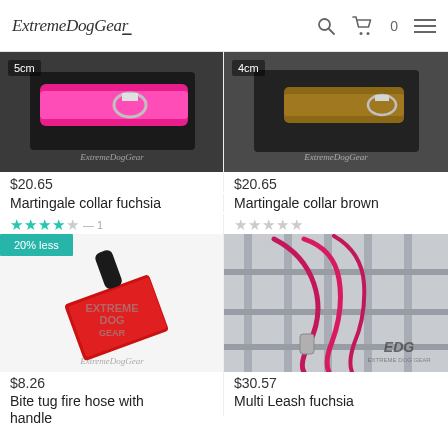ExtremeDogGear — navigation header with logo, search, cart (0), and menu icons
[Figure (photo): Pink/fuchsia 5cm martingale dog collar on black dog]
[Figure (photo): Brown 4cm martingale dog collar on black dog]
$20.65
$20.65
Martingale collar fuchsia
Martingale collar brown
★★★★☆ — 1
☆☆☆☆☆
20% less
[Figure (photo): Red bite tug fire hose with black handle, Extreme Dog Gear logo watermark]
[Figure (photo): Fuchsia/pink multi leash hanging on metal fence, EDG logo]
$8.26
$30.57
Bite tug fire hose with handle
Multi Leash fuchsia